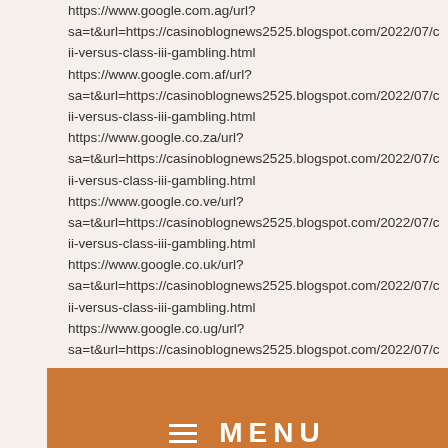https://www.google.com.ag/url?
sa=t&url=https://casinoblognews2525.blogspot.com/2022/07/c
ii-versus-class-iii-gambling.html
https://www.google.com.af/url?
sa=t&url=https://casinoblognews2525.blogspot.com/2022/07/c
ii-versus-class-iii-gambling.html
https://www.google.co.za/url?
sa=t&url=https://casinoblognews2525.blogspot.com/2022/07/c
ii-versus-class-iii-gambling.html
https://www.google.co.ve/url?
sa=t&url=https://casinoblognews2525.blogspot.com/2022/07/c
ii-versus-class-iii-gambling.html
https://www.google.co.uk/url?
sa=t&url=https://casinoblognews2525.blogspot.com/2022/07/c
ii-versus-class-iii-gambling.html
https://www.google.co.ug/url?
sa=t&url=https://casinoblognews2525.blogspot.com/2022/07/c
ii-versus-class-iii-gambling.html
[Figure (other): Orange menu bar with hamburger icon and MENU text in white bold letters]
ii-versus-class-iii-gambling.html